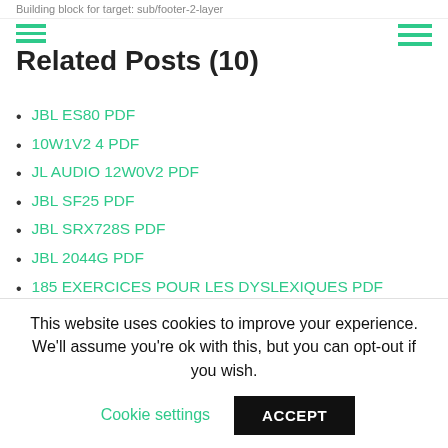Building block for target: sub/footer-2-layer
Related Posts (10)
JBL ES80 PDF
10W1V2 4 PDF
JL AUDIO 12W0V2 PDF
JBL SF25 PDF
JBL SRX728S PDF
JBL 2044G PDF
185 EXERCICES POUR LES DYSLEXIQUES PDF
JBL SR4719A PDF
JBL CONTROL26C PDF
FORMALIN FUMIGATION PROCEDURE FILETYPE PDF
This website uses cookies to improve your experience. We'll assume you're ok with this, but you can opt-out if you wish.
Cookie settings  ACCEPT